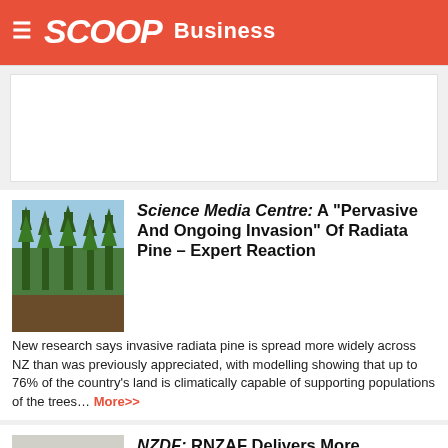SCOOP Business
[Figure (photo): Radiata pine trees against a sky background]
Science Media Centre: A "Pervasive And Ongoing Invasion" Of Radiata Pine – Expert Reaction
New research says invasive radiata pine is spread more widely across NZ than was previously appreciated, with modelling showing that up to 76% of the country's land is climatically capable of supporting populations of the trees... More>>
[Figure (photo): Military freight equipment on tarmac]
NZDF: RNZAF Delivers More Equipment As Kiribati Battles Drought
A Royal New Zealand Air Force C-130 Hercules has delivered additional freight to